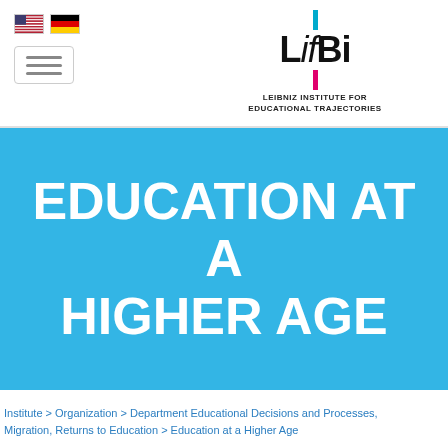[Figure (logo): LIfBi logo — Leibniz Institute for Educational Trajectories wordmark with cyan and magenta accent bars, US and German flag icons, and hamburger menu button in the page header]
EDUCATION AT A HIGHER AGE
Institute > Organization > Department Educational Decisions and Processes, Migration, Returns to Education > Education at a Higher Age